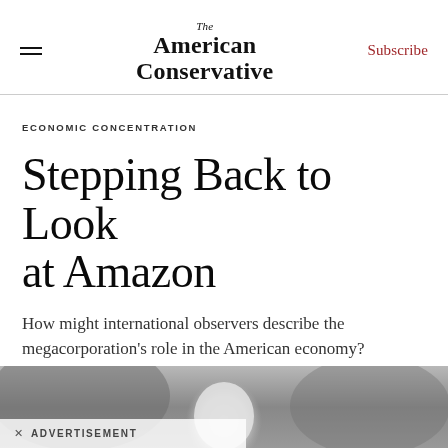The American Conservative | Subscribe
ECONOMIC CONCENTRATION
Stepping Back to Look at Amazon
How might international observers describe the megacorporation’s role in the American economy?
[Figure (photo): Black and white photo strip at the bottom of the page showing a blurred background with a light-colored rounded object in the center foreground]
×  ADVERTISEMENT